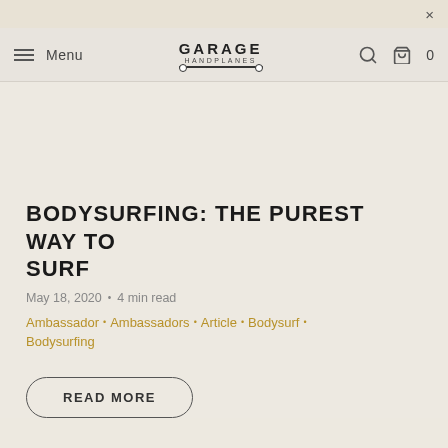× Menu | GARAGE HANDPLANES | 🔍 🛒 0
BODYSURFING: THE PUREST WAY TO SURF
May 18, 2020 • 4 min read
Ambassador • Ambassadors • Article • Bodysurf • Bodysurfing
READ MORE